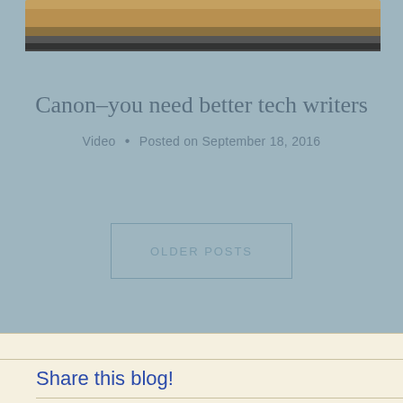[Figure (photo): Partial view of a camera or electronic device, cropped at top]
Canon–you need better tech writers
Video  •  Posted on September 18, 2016
OLDER POSTS
Share this blog!